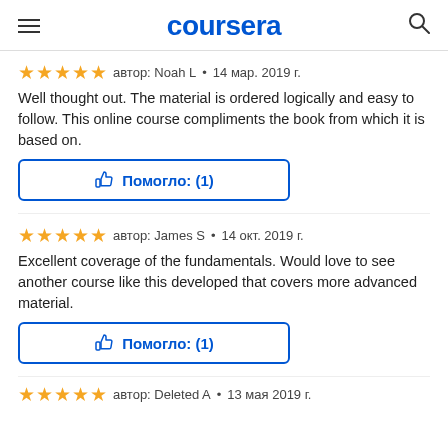coursera
автор: Noah L • 14 мар. 2019 г.
Well thought out. The material is ordered logically and easy to follow. This online course compliments the book from which it is based on.
Помогло: (1)
автор: James S • 14 окт. 2019 г.
Excellent coverage of the fundamentals. Would love to see another course like this developed that covers more advanced material.
Помогло: (1)
автор: Deleted A • 13 мая 2019 г.